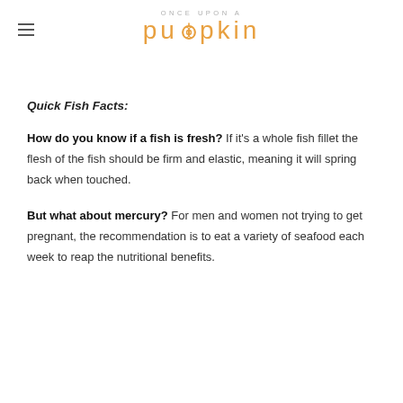ONCE UPON A puopkin
Quick Fish Facts:
How do you know if a fish is fresh? If it's a whole fish fillet the flesh of the fish should be firm and elastic, meaning it will spring back when touched.
But what about mercury? For men and women not trying to get pregnant, the recommendation is to eat a variety of seafood each week to reap the nutritional benefits.